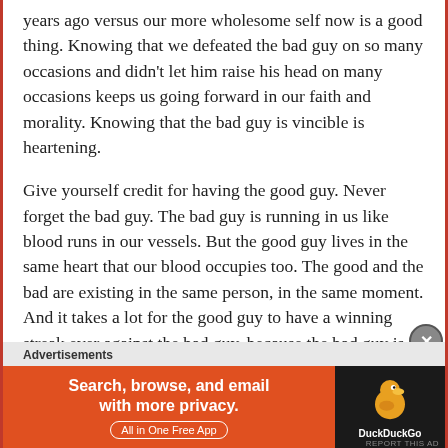years ago versus our more wholesome self now is a good thing. Knowing that we defeated the bad guy on so many occasions and didn't let him raise his head on many occasions keeps us going forward in our faith and morality. Knowing that the bad guy is vincible is heartening.
Give yourself credit for having the good guy. Never forget the bad guy. The bad guy is running in us like blood runs in our vessels. But the good guy lives in the same heart that our blood occupies too. The good and the bad are existing in the same person, in the same moment. And it takes a lot for the good guy to have a winning streak ever against the bad guy, because the bad guy is so much stronger and inviting.
So something something that begins then the page cuts off...
Advertisements
[Figure (screenshot): DuckDuckGo advertisement banner: orange left panel with white bold text 'Search, browse, and email with more privacy. All in One Free App' and black right panel with DuckDuckGo duck logo and 'DuckDuckGo' text]